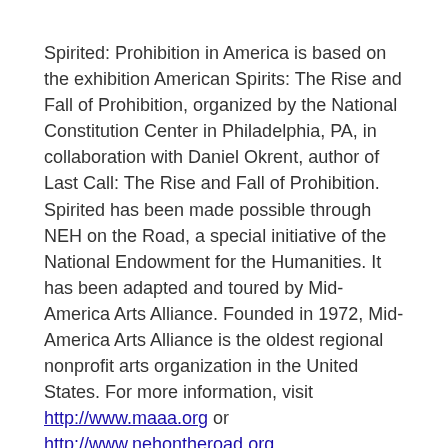Spirited: Prohibition in America is based on the exhibition American Spirits: The Rise and Fall of Prohibition, organized by the National Constitution Center in Philadelphia, PA, in collaboration with Daniel Okrent, author of Last Call: The Rise and Fall of Prohibition. Spirited has been made possible through NEH on the Road, a special initiative of the National Endowment for the Humanities. It has been adapted and toured by Mid-America Arts Alliance. Founded in 1972, Mid-America Arts Alliance is the oldest regional nonprofit arts organization in the United States. For more information, visit http://www.maaa.org or http://www.nehontheroad.org.
About the Lake Wales History Museum
The Lake Wales History Museum is open Tuesday – Saturday from 9 a.m. – 5 p.m. Admission is free. Parking is free and the first floor is accessible for...